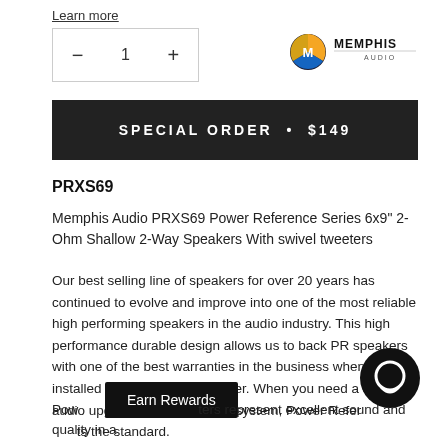Learn more
— 1 +
[Figure (logo): Memphis Audio logo — circular M emblem with blue/orange/yellow colors and MEMPHIS AUDIO wordmark]
SPECIAL ORDER • $149
PRXS69
Memphis Audio PRXS69 Power Reference Series 6x9" 2-Ohm Shallow 2-Way Speakers With swivel tweeters
Our best selling line of speakers for over 20 years has continued to evolve and improve into one of the most reliable high performing speakers in the audio industry. This high performance durable design allows us to back PR speakers with one of the best warranties in the business when installed by an authorized dealer. When you need a serious audio upgrade for your factory system, Power Reference sets the standard.
Earn Rewards
Pow...ters represent excellent sound and quality in a